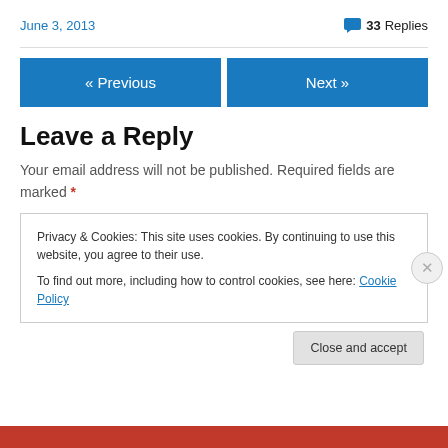June 3, 2013
33 Replies
« Previous
Next »
Leave a Reply
Your email address will not be published. Required fields are marked *
Privacy & Cookies: This site uses cookies. By continuing to use this website, you agree to their use.
To find out more, including how to control cookies, see here: Cookie Policy
Close and accept